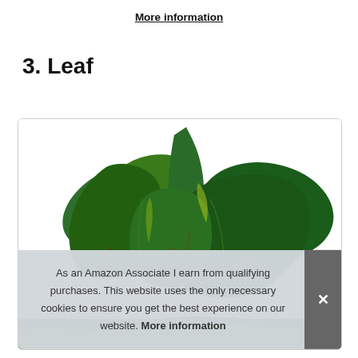More information
3. Leaf
[Figure (photo): A green leafy plant (peace lily / philodendron type) with large dark green leaves, photographed against a white background, shown inside a rounded-corner bordered box.]
As an Amazon Associate I earn from qualifying purchases. This website uses the only necessary cookies to ensure you get the best experience on our website. More information